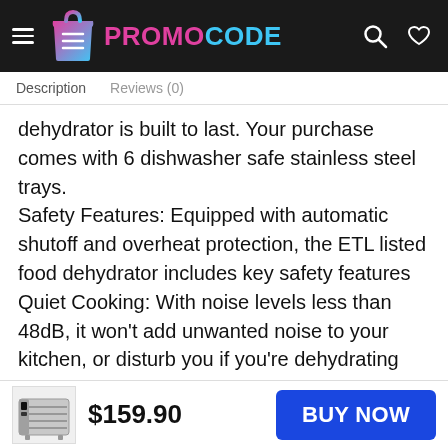PROMO CODE
Description   Reviews (0)
dehydrator is built to last. Your purchase comes with 6 dishwasher safe stainless steel trays. Safety Features: Equipped with automatic shutoff and overheat protection, the ETL listed food dehydrator includes key safety features Quiet Cooking: With noise levels less than 48dB, it won't add unwanted noise to your kitchen, or disturb you if you're dehydrating food overnight. Included components: 1 Stainless Steel Food Dehydrator, 1 Mesh Screen, 1 Fruit Roll Sheet, 1 Recipe
$159.90
BUY NOW